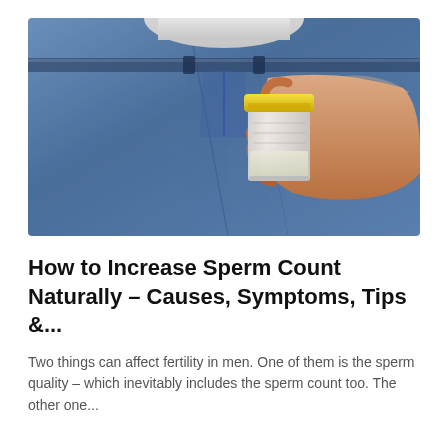[Figure (photo): A hand holding a clear specimen/sample cup with a yellow lid, positioned in front of a person wearing blue denim jeans and a white shirt.]
How to Increase Sperm Count Naturally – Causes, Symptoms, Tips &...
Two things can affect fertility in men. One of them is the sperm quality – which inevitably includes the sperm count too. The other one...